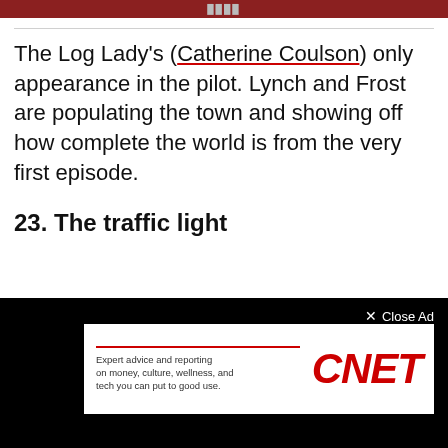[Figure (photo): Dark reddish image bar at top of page with partially visible text]
The Log Lady's (Catherine Coulson) only appearance in the pilot. Lynch and Frost are populating the town and showing off how complete the world is from the very first episode.
23. The traffic light
[Figure (screenshot): Advertisement overlay on dark background showing CNET ad with text 'Expert advice and reporting on money, culture, wellness, and tech you can put to good use.' and 'Close Ad' button]